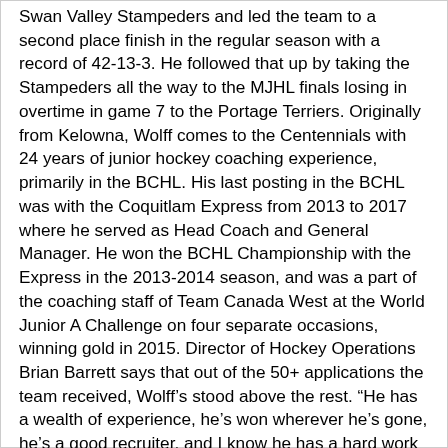Swan Valley Stampeders and led the team to a second place finish in the regular season with a record of 42-13-3. He followed that up by taking the Stampeders all the way to the MJHL finals losing in overtime in game 7 to the Portage Terriers. Originally from Kelowna, Wolff comes to the Centennials with 24 years of junior hockey coaching experience, primarily in the BCHL. His last posting in the BCHL was with the Coquitlam Express from 2013 to 2017 where he served as Head Coach and General Manager. He won the BCHL Championship with the Express in the 2013-2014 season, and was a part of the coaching staff of Team Canada West at the World Junior A Challenge on four separate occasions, winning gold in 2015. Director of Hockey Operations Brian Barrett says that out of the 50+ applications the team received, Wolff's stood above the rest. “He has a wealth of experience, he's won wherever he's gone, he's a good recruiter, and I know he has a hard work ethic, and he'll give his all for this club.” New Head Coach and GM Wolff says he's excited to be a part of the Centennials organization. “It's the oldest franchise in the BCHL, there's a lot of tradition there and I'm just excited to be a part of it.” Wolff adds that he looks forward to getting